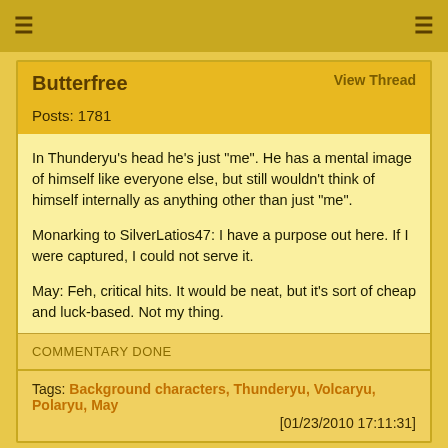≡  ≡
Butterfree   View Thread
Posts: 1781
In Thunderyu's head he's just "me". He has a mental image of himself like everyone else, but still wouldn't think of himself internally as anything other than just "me".

Monarking to SilverLatios47: I have a purpose out here. If I were captured, I could not serve it.

May: Feh, critical hits. It would be neat, but it's sort of cheap and luck-based. Not my thing.
COMMENTARY DONE
Tags: Background characters, Thunderyu, Volcaryu, Polaryu, May
[01/23/2010 17:11:31]
Butterfree   View Thread